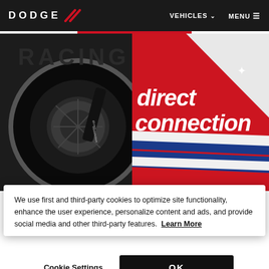DODGE // | VEHICLES ∨ | MENU ≡
[Figure (photo): Close-up photo of a Direct Connection racing car. Left side shows wheel and brake disc with 'direct connection' text on the arm. Right side shows the red, white and blue body of the car with large 'direct connection' branding text. Background shows 'RACING' lettering in dark area.]
We use first and third-party cookies to optimize site functionality, enhance the user experience, personalize content and ads, and provide social media and other third-party features.  Learn More
Cookie Settings
OK